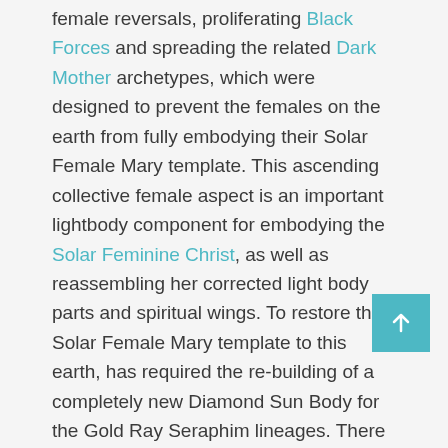female reversals, proliferating Black Forces and spreading the related Dark Mother archetypes, which were designed to prevent the females on the earth from fully embodying their Solar Female Mary template. This ascending collective female aspect is an important lightbody component for embodying the Solar Feminine Christ, as well as reassembling her corrected light body parts and spiritual wings. To restore the Solar Female Mary template to this earth, has required the re-building of a completely new Diamond Sun Body for the Gold Ray Seraphim lineages. There is one design for the Solar Christ Michael and another template for the Solar Christ Mary.
By reclaiming the Temple Mount for connecting back into the Mother Arc Gateway systems that